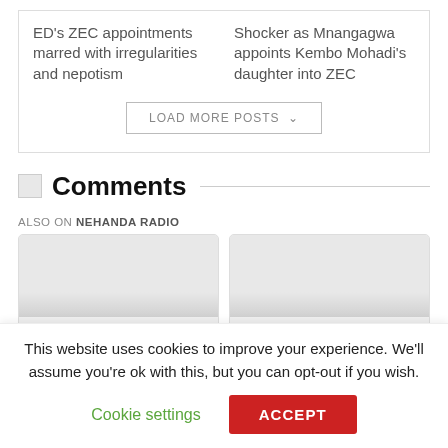ED's ZEC appointments marred with irregularities and nepotism
Shocker as Mnangagwa appoints Kembo Mohadi's daughter into ZEC
LOAD MORE POSTS
Comments
ALSO ON NEHANDA RADIO
[Figure (other): Two placeholder thumbnail image cards for related articles]
This website uses cookies to improve your experience. We'll assume you're ok with this, but you can opt-out if you wish.
Cookie settings
ACCEPT